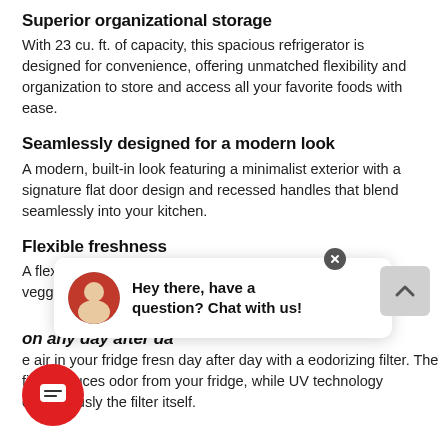Superior organizational storage
With 23 cu. ft. of capacity, this spacious refrigerator is designed for convenience, offering unmatched flexibility and organization to store and access all your favorite foods with ease.
Seamlessly designed for a modern look
A modern, built-in look featuring a minimalist exterior with a signature flat door design and recessed handles that blend seamlessly into your kitchen.
Flexible freshness
A flexible storage drawer that is perfect for storing meats, veggies, or cheeses at their optimal e temperature
e air in your fridge fresn day after day with a eodorizing filter. The filter reduces odor from your fridge, while UV technology continuously the filter itself.